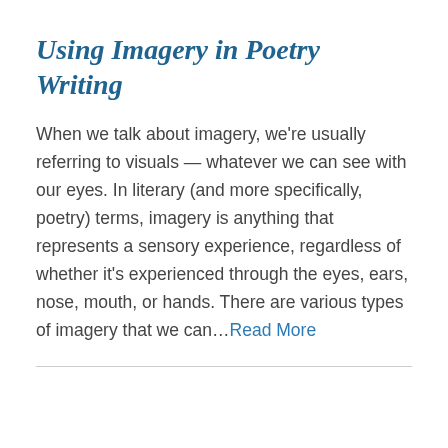Using Imagery in Poetry Writing
When we talk about imagery, we're usually referring to visuals — whatever we can see with our eyes. In literary (and more specifically, poetry) terms, imagery is anything that represents a sensory experience, regardless of whether it's experienced through the eyes, ears, nose, mouth, or hands. There are various types of imagery that we can…Read More